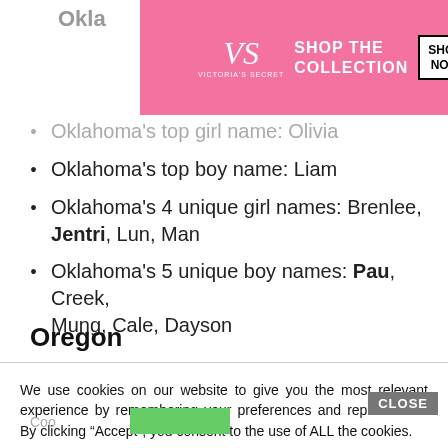Okla
[Figure (advertisement): Victoria's Secret advertisement banner with model photo on pink background showing 'SHOP THE COLLECTION' and 'SHOP NOW' button]
Oklahoma's top girl name: Olivia
Oklahoma's top boy name: Liam
Oklahoma's 4 unique girl names: Brenlee, Jentri, Lun, Man
Oklahoma's 5 unique boy names: Pau, Creek, Mung, Cale, Dayson
Oregon
We use cookies on our website to give you the most relevant experience by remembering your preferences and repeat visits. By clicking “Accept”, you consent to the use of ALL the cookies.
Do not sell my personal information.
[Figure (other): Bottom media player bar with close button and X icon overlay, cookie settings buttons]